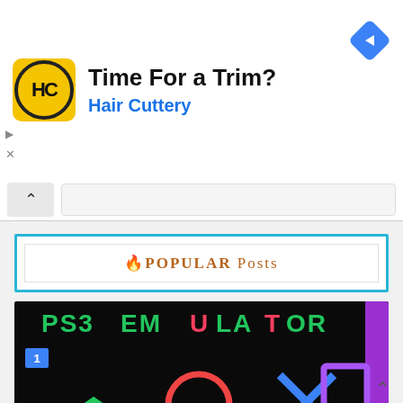[Figure (screenshot): Hair Cuttery advertisement banner with yellow HC logo, title 'Time For a Trim?' and subtitle 'Hair Cuttery' in blue, blue diamond navigation icon top right]
[Figure (screenshot): Browser navigation bar with back chevron button and URL input field]
🔥POPULAR Posts
[Figure (screenshot): PS3 Emulator graphic with colorful PlayStation symbols (triangle, circle, X, square) on black background with purple right edge, text 'PS3 EMULATOR' at top in green and pink letters, numbered badge '1']
PS3 Emulator Bios and Roms Free Download
Readmore